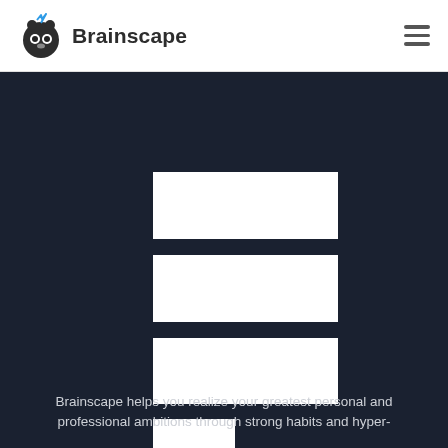Brainscape
[Figure (screenshot): Brainscape app UI showing stacked white rectangles representing flashcard categories on a dark navy background]
Brainscape helps you realize your greatest personal and professional ambitions through strong habits and hyper-